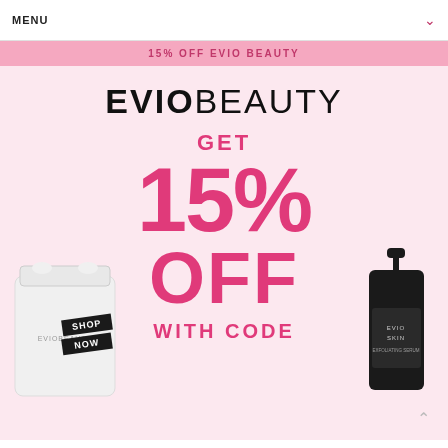MENU
15% OFF EVIO BEAUTY
EVIO BEAUTY
GET 15% OFF WITH CODE
[Figure (photo): White plastic bag product on left, with black SHOP NOW badge sticker overlay; dark serum bottle (EVIO SKIN) on right side]
SHOP NOW
WITH CODE